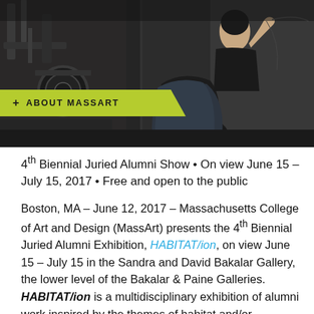[Figure (photo): Dark industrial/workshop photo showing a person sitting wrapped in a dark cape while another person stands behind, likely a barbershop or craft scene. Dark and moody lighting.]
+ ABOUT MASSART
4th Biennial Juried Alumni Show • On view June 15 – July 15, 2017 • Free and open to the public
Boston, MA – June 12, 2017 – Massachusetts College of Art and Design (MassArt) presents the 4th Biennial Juried Alumni Exhibition, HABITAT/ion, on view June 15 – July 15 in the Sandra and David Bakalar Gallery, the lower level of the Bakalar & Paine Galleries. HABITAT/ion is a multidisciplinary exhibition of alumni work inspired by the themes of habitat and/or habitation. Through a